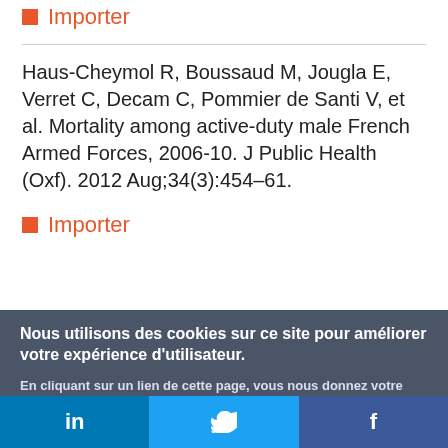Importer
Haus-Cheymol R, Boussaud M, Jougla E, Verret C, Decam C, Pommier de Santi V, et al. Mortality among active-duty male French Armed Forces, 2006-10. J Public Health (Oxf). 2012 Aug;34(3):454–61.
Importer
Nous utilisons des cookies sur ce site pour améliorer votre expérience d'utilisateur. En cliquant sur un lien de cette page, vous nous donnez votre consentement de définir des cookies.
[Figure (screenshot): Social media share bar with LinkedIn, Twitter, and Facebook buttons]